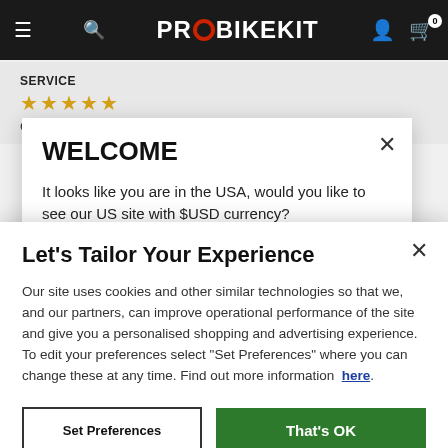PRO BIKEKIT navigation bar
SERVICE
★★★★★
Good services and fast delivery and valueable product! I
WELCOME
It looks like you are in the USA, would you like to see our US site with $USD currency?
Let's Tailor Your Experience
Our site uses cookies and other similar technologies so that we, and our partners, can improve operational performance of the site and give you a personalised shopping and advertising experience. To edit your preferences select "Set Preferences" where you can change these at any time. Find out more information here.
Set Preferences
That's OK